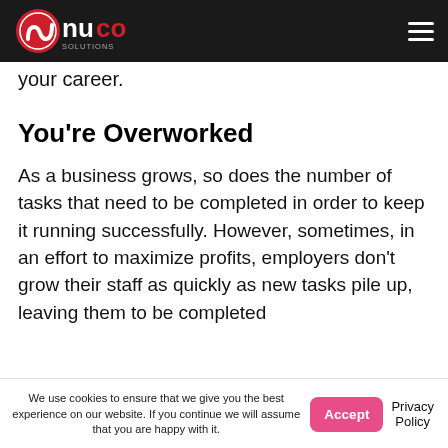NuCo Solutions logo and navigation
your career.
You're Overworked
As a business grows, so does the number of tasks that need to be completed in order to keep it running successfully. However, sometimes, in an effort to maximize profits, employers don't grow their staff as quickly as new tasks pile up, leaving them to be completed by current staff. When this
We use cookies to ensure that we give you the best experience on our website. If you continue we will assume that you are happy with it.
Accept
Privacy Policy